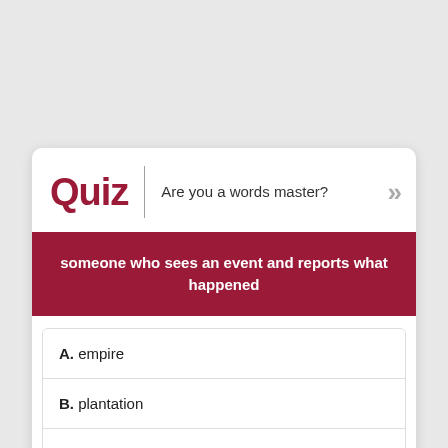Quiz
Are you a words master?
someone who sees an event and reports what happened
A. empire
B. plantation
C. witness
D. bash